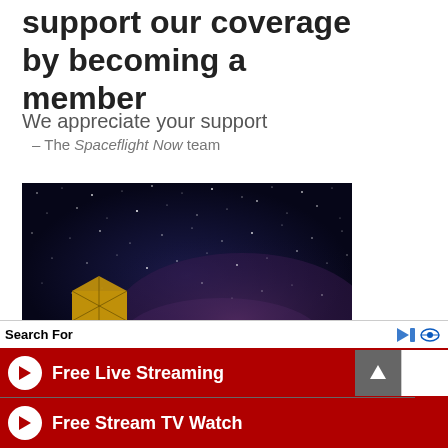support our coverage by becoming a member
We appreciate your support
– The Spaceflight Now team
[Figure (photo): Space telescope (James Webb) with gold mirror panels depicted against a starry night sky background with nebula]
Search For
Free Live Streaming
Free Stream TV Watch